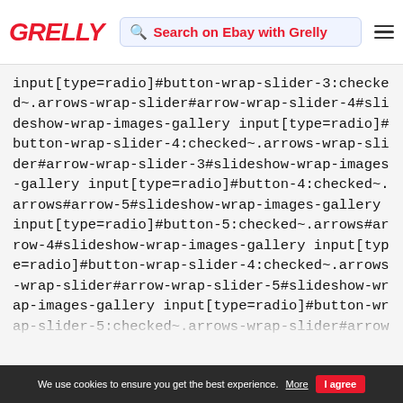GRELLY | Search on Ebay with Grelly
input[type=radio]#button-wrap-slider-3:checked~.arrows-wrap-slider#arrow-wrap-slider-4#slideshow-wrap-images-gallery input[type=radio]#button-wrap-slider-4:checked~.arrows-wrap-slider#arrow-wrap-slider-3#slideshow-wrap-images-gallery input[type=radio]#button-4:checked~.arrows#arrow-5#slideshow-wrap-images-gallery input[type=radio]#button-5:checked~.arrows#arrow-4#slideshow-wrap-images-gallery input[type=radio]#button-wrap-slider-4:checked~.arrows-wrap-slider#arrow-wrap-slider-5#slideshow-wrap-images-gallery input[type=radio]#button-wrap-slider-5:checked~.arrows-wrap-slider#arrow-wrap-slider-4#slideshow-wrap-images-gallery input[type=radio]#button-5:checked~.arrows#arrow-6#slideshow-wrap-images-gallery input[type=radio]#button-5:checked~.arrows-
We use cookies to ensure you get the best experience. More | I agree